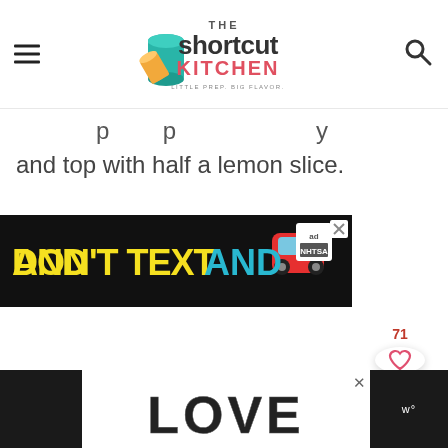The Shortcut Kitchen
and top with half a lemon slice.
[Figure (screenshot): Advertisement banner: DON'T TEXT AND [car emoji] ad NHTSA with X close button]
[Figure (screenshot): Bottom advertisement banner: LOVE decorative text, close X button, and dark side panels with W degree symbol]